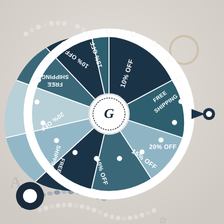[Figure (infographic): A spin-to-win prize wheel with 10 segments showing discount offers: 10% OFF, FREE SHIPPING, 20% OFF, 15% OFF, 10% OFF, FREE SHIPPING, 20% OFF, 15% OFF, 10% OFF, FREE SHIPPING. The wheel has alternating dark navy and teal/light blue segments with white text. A white center hub features a jewelry brand logo. A dark navy pointer arrow is on the right side. The wheel sits atop a light gray background with jewelry (pearl necklaces, beaded bracelets) scattered around it. A chat bubble icon appears in the bottom left corner.]